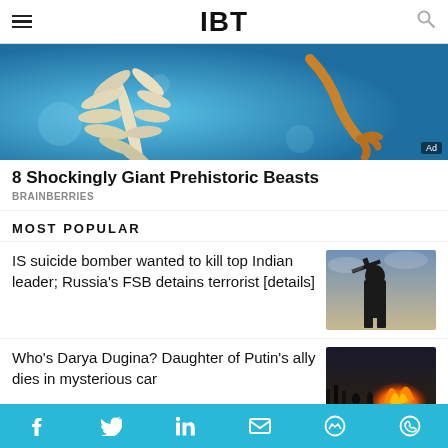IBT
[Figure (photo): Underwater image of a prehistoric sea creature with feathered appendages and a claw, on a blue background. Ad badge visible in bottom right.]
8 Shockingly Giant Prehistoric Beasts
BRAINBERRIES
MOST POPULAR
IS suicide bomber wanted to kill top Indian leader; Russia's FSB detains terrorist [details]
[Figure (photo): Silhouette of a person holding a rifle against a cloudy sky background.]
Who's Darya Dugina? Daughter of Putin's ally dies in mysterious car
[Figure (photo): Night scene with fire and people in the background.]
Social share bar: Facebook, Twitter, LinkedIn, Email, Messenger, WhatsApp